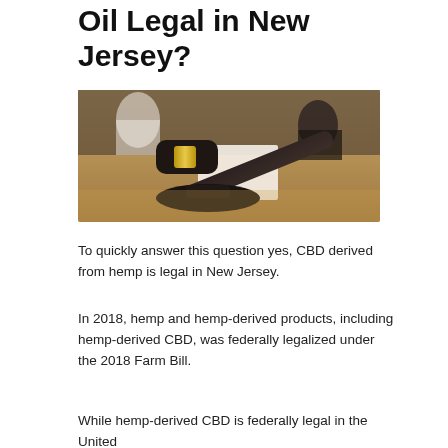Oil Legal in New Jersey?
[Figure (photo): A judge's gavel resting on its stand on a wooden table, with people in suits visible in the background reviewing documents.]
To quickly answer this question yes, CBD derived from hemp is legal in New Jersey.
In 2018, hemp and hemp-derived products, including hemp-derived CBD, was federally legalized under the 2018 Farm Bill.
While hemp-derived CBD is federally legal in the United